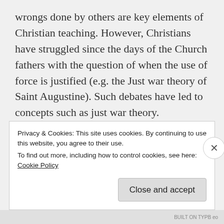wrongs done by others are key elements of Christian teaching. However, Christians have struggled since the days of the Church fathers with the question of when the use of force is justified (e.g. the Just war theory of Saint Augustine). Such debates have led to concepts such as just war theory. Throughout history, certain teachings from the Old Testament, the New Testament and Christian theology have been used to justify the use of force against heretics, sinners and external
Privacy & Cookies: This site uses cookies. By continuing to use this website, you agree to their use.
To find out more, including how to control cookies, see here: Cookie Policy